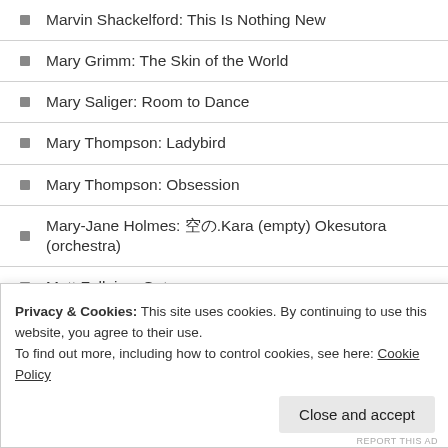Marvin Shackelford: This Is Nothing New
Mary Grimm: The Skin of the World
Mary Saliger: Room to Dance
Mary Thompson: Ladybird
Mary Thompson: Obsession
Mary-Jane Holmes: 空の.Kara (empty) Okesutora (orchestra)
Matt Fallaize: Guts
Matt Harris: Hokey Cokey
Matt Hutchinson: Something in the Moment
Matt Kendrick: Blue Over Pink
Matt Mattila: Easy Dealing
Privacy & Cookies: This site uses cookies. By continuing to use this website, you agree to their use. To find out more, including how to control cookies, see here: Cookie Policy
Close and accept